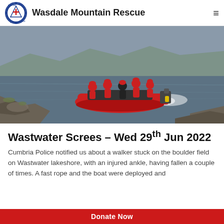Wasdale Mountain Rescue
[Figure (photo): Rescue team in red jackets on an inflatable red rescue boat on a lake, with rocky shoreline in the foreground, overcast sky and dark water]
Wastwater Screes – Wed 29th Jun 2022
Cumbria Police notified us about a walker stuck on the boulder field on Wastwater lakeshore, with an injured ankle, having fallen a couple of times. A fast rope and the boat were deployed and
Donate Now